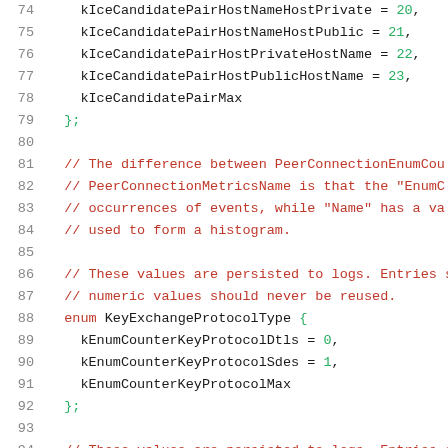Source code listing showing enum definitions for IceCandidatePair types and KeyExchangeProtocolType, lines 74-95
74: kIceCandidatePairHostNameHostPrivate = 20,
75: kIceCandidatePairHostNameHostPublic = 21,
76: kIceCandidatePairHostPrivateHostName = 22,
77: kIceCandidatePairHostPublicHostName = 23,
78: kIceCandidatePairMax
79: };
81: // The difference between PeerConnectionEnumCou...
82: // PeerConnectionMetricsName is that the "EnumC...
83: // occurrences of events, while "Name" has a va...
84: // used to form a histogram.
86: // These values are persisted to logs. Entries s...
87: // numeric values should never be reused.
88: enum KeyExchangeProtocolType {
89: kEnumCounterKeyProtocolDtls = 0,
90: kEnumCounterKeyProtocolSdes = 1,
91: kEnumCounterKeyProtocolMax
92: };
94: // These values are persisted to logs. Entries s...
95: // numeric values should never be reused.